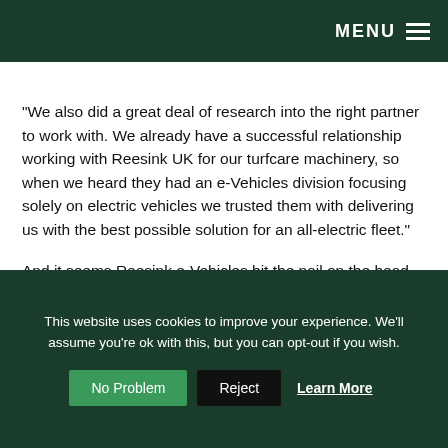MENU
“We also did a great deal of research into the right partner to work with. We already have a successful relationship working with Reesink UK for our turfcare machinery, so when we heard they had an e-Vehicles division focusing solely on electric vehicles we trusted them with delivering us with the best possible solution for an all-electric fleet.”
And it seems Reesink e-Vehicles hit the nail on the head with STAR EV as Darren concludes: “STAR EV fits in exactly with what Spurs is all about and that’s having the best available game-changing equipment on the market there is.
This website uses cookies to improve your experience. We'll assume you're ok with this, but you can opt-out if you wish.